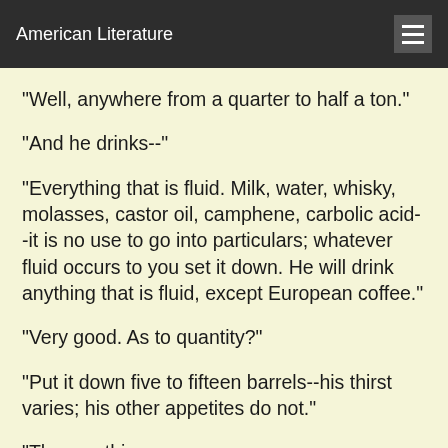American Literature
"Well, anywhere from a quarter to half a ton."
"And he drinks--"
"Everything that is fluid. Milk, water, whisky, molasses, castor oil, camphene, carbolic acid--it is no use to go into particulars; whatever fluid occurs to you set it down. He will drink anything that is fluid, except European coffee."
"Very good. As to quantity?"
"Put it down five to fifteen barrels--his thirst varies; his other appetites do not."
"The next thing--" The word to finish is cut off.